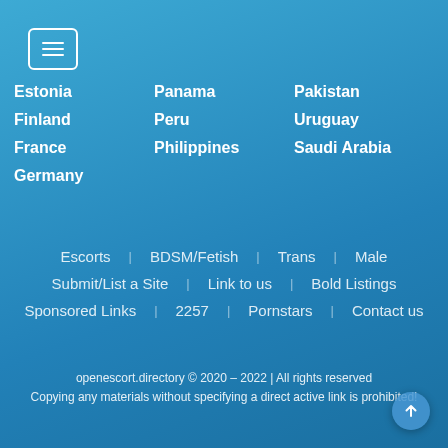[Figure (other): Hamburger menu button icon with three horizontal lines]
Estonia
Finland
France
Germany
Panama
Peru
Philippines
Pakistan
Uruguay
Saudi Arabia
Escorts    BDSM/Fetish    Trans    Male
Submit/List a Site    Link to us    Bold Listings
Sponsored Links    2257    Pornstars    Contact us
openescort.directory © 2020 – 2022 | All rights reserved
Copying any materials without specifying a direct active link is prohibited!